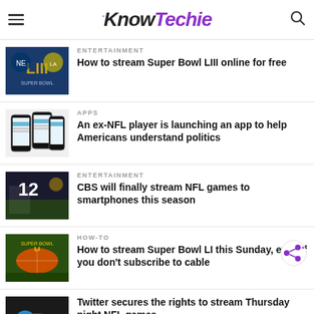KnowTechie
ENTERTAINMENT
How to stream Super Bowl LIII online for free
APPS
An ex-NFL player is launching an app to help Americans understand politics
ENTERTAINMENT
CBS will finally stream NFL games to smartphones this season
HOW-TO
How to stream Super Bowl LI this Sunday, even if you don't subscribe to cable
Twitter secures the rights to stream Thursday night NFL games